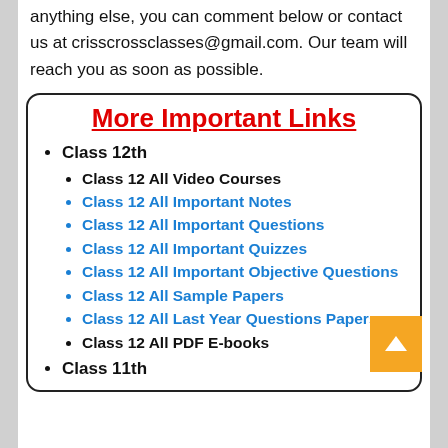anything else, you can comment below or contact us at crisscrossclasses@gmail.com. Our team will reach you as soon as possible.
More Important Links
Class 12th
Class 12 All Video Courses
Class 12 All Important Notes
Class 12 All Important Questions
Class 12 All Important Quizzes
Class 12 All Important Objective Questions
Class 12 All Sample Papers
Class 12 All Last Year Questions Papers
Class 12 All PDF E-books
Class 11th